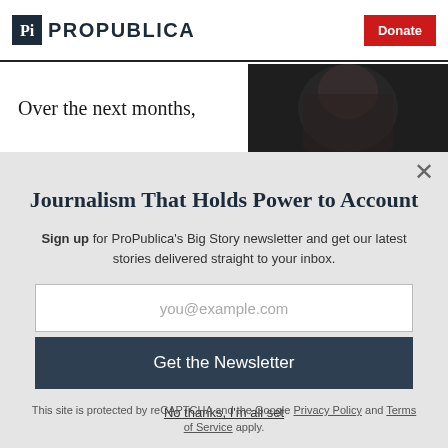ProPublica — Donate
Over the next months,
[Figure (photo): Dark background photo of a person with hands near face, partially visible]
Journalism That Holds Power to Account
Sign up for ProPublica's Big Story newsletter and get our latest stories delivered straight to your inbox.
you@example.com
Get the Newsletter
No thanks, I'm all set
This site is protected by reCAPTCHA and the Google Privacy Policy and Terms of Service apply.